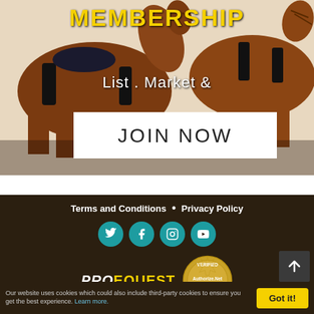[Figure (photo): Two horses with riders jumping, brown horses on white background]
MEMBERSHIP
List . Market &
JOIN NOW
Terms and Conditions • Privacy Policy
[Figure (logo): Social media icons: Twitter, Facebook, Instagram, YouTube in teal circles]
[Figure (logo): ProEquest logo and Authorize.Net Verified Merchant badge]
[Figure (other): Back to top arrow button]
Our website uses cookies which could also include third-party cookies to ensure you get the best experience. Learn more.
Got it!